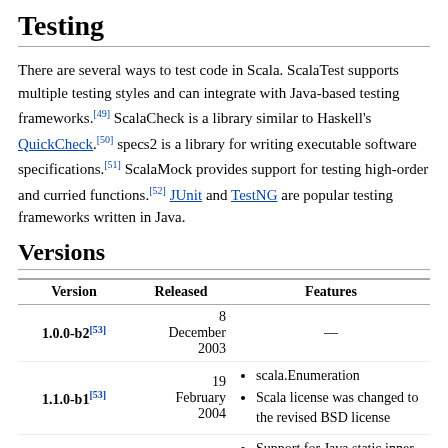Testing
There are several ways to test code in Scala. ScalaTest supports multiple testing styles and can integrate with Java-based testing frameworks.[49] ScalaCheck is a library similar to Haskell's QuickCheck.[50] specs2 is a library for writing executable software specifications.[51] ScalaMock provides support for testing high-order and curried functions.[52] JUnit and TestNG are popular testing frameworks written in Java.
Versions
| Version | Released | Features |
| --- | --- | --- |
| 1.0.0-b2[53] | 8 December 2003 | — |
| 1.1.0-b1[53] | 19 February 2004 | • scala.Enumeration
• Scala license was changed to the revised BSD license |
|  |  | • Support for Java static inner classes |